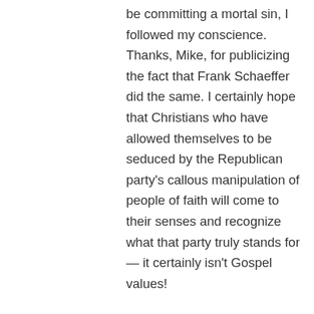be committing a mortal sin, I followed my conscience. Thanks, Mike, for publicizing the fact that Frank Schaeffer did the same. I certainly hope that Christians who have allowed themselves to be seduced by the Republican party's callous manipulation of people of faith will come to their senses and recognize what that party truly stands for — it certainly isn't Gospel values!
↳ Reply
Jay on November 19, 2008 at 6:22 am
Since there were presidential candidates that were consistently pro-life, that is against abortion and war, it seems completely illogical and